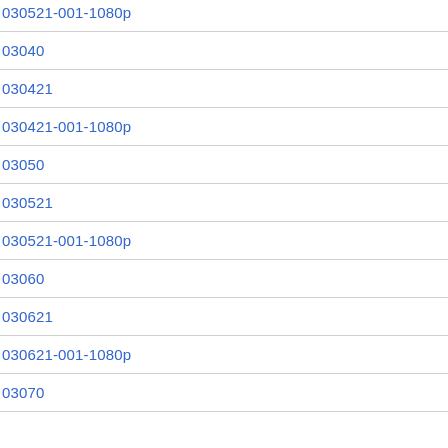030521-001-1080p
03040
030421
030421-001-1080p
03050
030521
030521-001-1080p
03060
030621
030621-001-1080p
03070